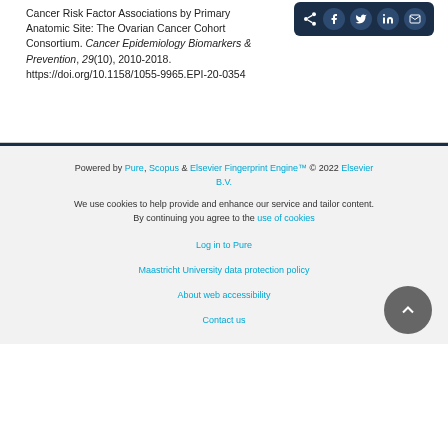Cancer Risk Factor Associations by Primary Anatomic Site: The Ovarian Cancer Cohort Consortium. Cancer Epidemiology Biomarkers & Prevention, 29(10), 2010-2018. https://doi.org/10.1158/1055-9965.EPI-20-0354
[Figure (other): Social share bar with icons for share, Facebook, Twitter, LinkedIn, and email on dark navy background]
Powered by Pure, Scopus & Elsevier Fingerprint Engine™ © 2022 Elsevier B.V. We use cookies to help provide and enhance our service and tailor content. By continuing you agree to the use of cookies. Log in to Pure. Maastricht University data protection policy. About web accessibility. Contact us.